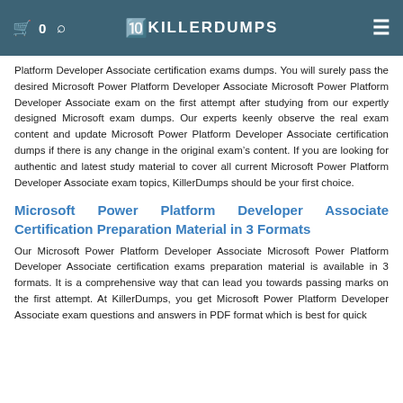🛒 0  🔍  KILLERDUMPS  ≡
Platform Developer Associate certification exams dumps. You will surely pass the desired Microsoft Power Platform Developer Associate Microsoft Power Platform Developer Associate exam on the first attempt after studying from our expertly designed Microsoft exam dumps. Our experts keenly observe the real exam content and update Microsoft Power Platform Developer Associate certification dumps if there is any change in the original exam's content. If you are looking for authentic and latest study material to cover all current Microsoft Power Platform Developer Associate exam topics, KillerDumps should be your first choice.
Microsoft Power Platform Developer Associate Certification Preparation Material in 3 Formats
Our Microsoft Power Platform Developer Associate Microsoft Power Platform Developer Associate certification exams preparation material is available in 3 formats. It is a comprehensive way that can lead you towards passing marks on the first attempt. At KillerDumps, you get Microsoft Power Platform Developer Associate exam questions and answers in PDF format which is best for quick